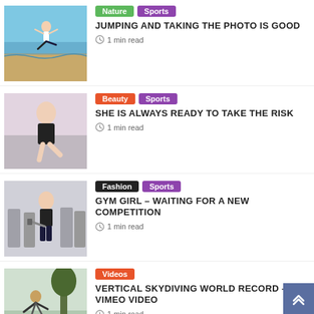[Figure (photo): Woman jumping on a beach with blue sky and sand]
Nature | Sports
JUMPING AND TAKING THE PHOTO IS GOOD
1 min read
[Figure (photo): Young woman sitting in a studio pose with light background]
Beauty | Sports
SHE IS ALWAYS READY TO TAKE THE RISK
1 min read
[Figure (photo): Gym girl holding weights in a fitness gym setting]
Fashion | Sports
GYM GIRL – WAITING FOR A NEW COMPETITION
1 min read
[Figure (photo): Person skydiving vertically with trees in background]
Videos
VERTICAL SKYDIVING WORLD RECORD – VIMEO VIDEO
1 min read